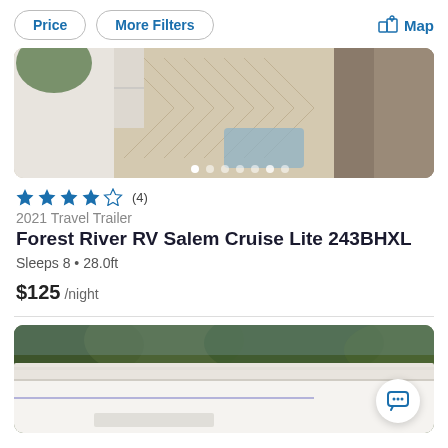Price   More Filters   Map
[Figure (photo): Interior photo of RV showing herringbone wood floor pattern, white walls, and blue decorative pillow. Carousel with 7 dots at the bottom.]
★★★★☆ (4)
2021 Travel Trailer
Forest River RV Salem Cruise Lite 243BHXL
Sleeps 8 • 28.0ft
$125 /night
[Figure (photo): Exterior photo of an RV awning with green trees in the background. A chat bubble button is visible in the bottom right corner.]